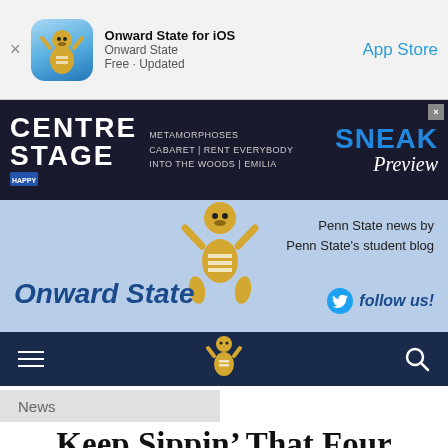[Figure (screenshot): App Store banner for Onward State iOS app showing app icon with Penn State mascot, app name, and App Store link]
Onward State for iOS
Onward State
Free · Updated
App Store
[Figure (screenshot): Centre Stage advertisement banner with dark background showing text: METAMORPHOSES, CABARET, RENT EVERYBODY, INTO THE WOODS, EMILIA, SNEAK Preview]
[Figure (screenshot): Onward State website header with blue background, Penn State Nittany Lion mascot, site logo, tagline and Twitter follow button]
Penn State news by Penn State's student blog
follow us!
[Figure (screenshot): Dark navy navigation bar with hamburger menu, mascot icon, and search icon]
News
Keep Sippin’ That Four Loko (For Now)
[Figure (screenshot): Social sharing bar at bottom with Facebook, Twitter, Email, and SMS buttons]